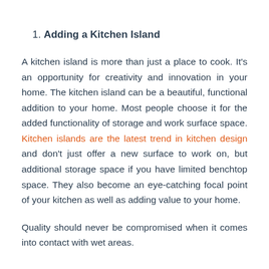1. Adding a Kitchen Island
A kitchen island is more than just a place to cook. It’s an opportunity for creativity and innovation in your home. The kitchen island can be a beautiful, functional addition to your home. Most people choose it for the added functionality of storage and work surface space. Kitchen islands are the latest trend in kitchen design and don’t just offer a new surface to work on, but additional storage space if you have limited benchtop space. They also become an eye-catching focal point of your kitchen as well as adding value to your home.
Quality should never be compromised when it comes into contact with wet areas.